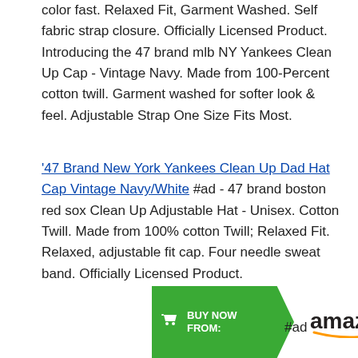color fast. Relaxed Fit, Garment Washed. Self fabric strap closure. Officially Licensed Product. Introducing the 47 brand mlb NY Yankees Clean Up Cap - Vintage Navy. Made from 100-Percent cotton twill. Garment washed for softer look & feel. Adjustable Strap One Size Fits Most.
'47 Brand New York Yankees Clean Up Dad Hat Cap Vintage Navy/White #ad - 47 brand boston red sox Clean Up Adjustable Hat - Unisex. Cotton Twill. Made from 100% cotton Twill; Relaxed Fit. Relaxed, adjustable fit cap. Four needle sweat band. Officially Licensed Product.
[Figure (other): Amazon 'Buy Now From' banner with green arrow button and Amazon logo with #ad label]